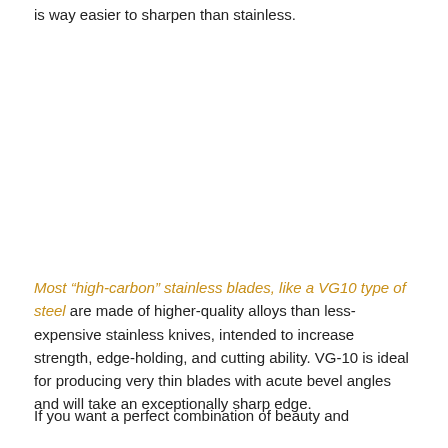is way easier to sharpen than stainless.
Most “high-carbon” stainless blades, like a VG10 type of steel are made of higher-quality alloys than less-expensive stainless knives, intended to increase strength, edge-holding, and cutting ability. VG-10 is ideal for producing very thin blades with acute bevel angles and will take an exceptionally sharp edge.
If you want a perfect combination of beauty and